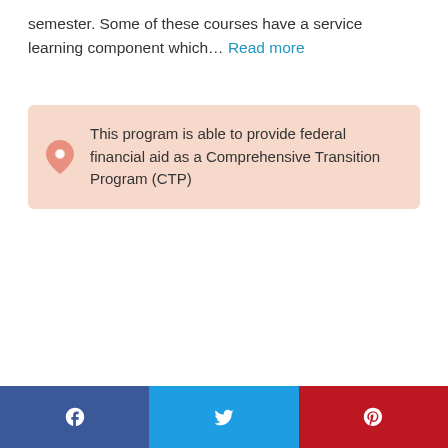semester. Some of these courses have a service learning component which... Read more
This program is able to provide federal financial aid as a Comprehensive Transition Program (CTP)
| Field | Value |
| --- | --- |
| Address | Integrated Professional Studies
One University Place
Chester, PA 19013 |
| Phone | 610-499-1102 |
| Web | Program website |
| Contact | Julie Heydeman |
Facebook  Twitter  Pinterest